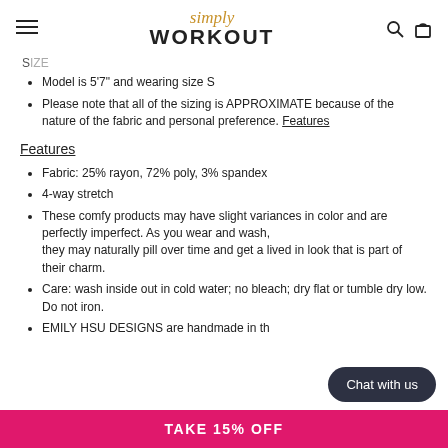Simply Workout - navigation header
SIZE
Model is 5'7" and wearing size S
Please note that all of the sizing is APPROXIMATE because of the nature of the fabric and personal preference. Features
Features
Fabric: 25% rayon, 72% poly, 3% spandex
4-way stretch
These comfy products may have slight variances in color and are perfectly imperfect. As you wear and wash, they may naturally pill over time and get a lived in look that is part of their charm.
Care: wash inside out in cold water; no bleach; dry flat or tumble dry low. Do not iron.
EMILY HSU DESIGNS are handmade in th...
Chat with us
TAKE 15% OFF